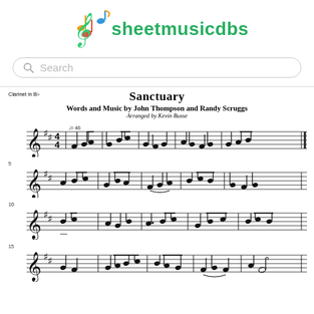[Figure (logo): sheetmusicdbs logo with treble clef and colorful musical notes]
[Figure (screenshot): Search bar with magnifying glass icon and placeholder text 'Search']
Clarinet in B♭
Sanctuary
Words and Music by John Thompson and Randy Scruggs
Arranged by Kevin Busse
[Figure (other): Sheet music staff row 1 with treble clef, key signature, time signature 4/4, tempo marking ♩=46, and musical notes]
[Figure (other): Sheet music staff row 2, measure 5, with treble clef and musical notes]
[Figure (other): Sheet music staff row 3, measure 10, with treble clef and musical notes]
[Figure (other): Sheet music staff row 4, measure 15, with treble clef and musical notes]